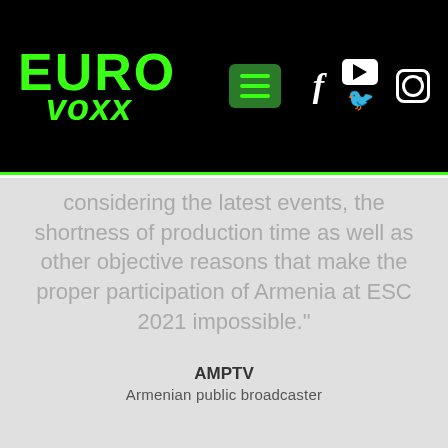[Figure (logo): Eurovoxx logo in bright green on black background, with navigation icons (hamburger menu, Facebook, YouTube, Instagram, Twitter)]
considering the latest events, the shortness of production time as well as other objective reasons that make the proper participation of Armenia at ESC 2021 impossible."
AMPTV
Armenian public broadcaster